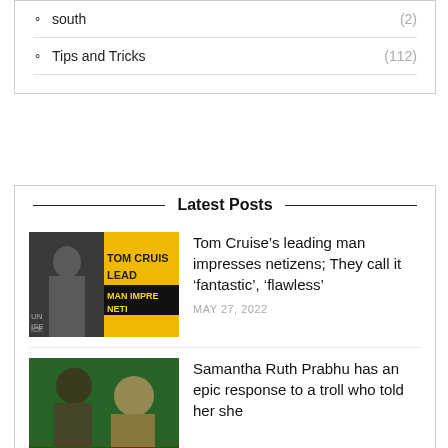south (2)
Tips and Tricks (112)
Latest Posts
[Figure (photo): Tom Cruise Top Gun movie promotional image with yellow background and text overlay]
Tom Cruise’s leading man impresses netizens; They call it ‘fantastic’, ‘flawless’
MAY 27, 2022
[Figure (photo): Samantha Ruth Prabhu with a man, green background, red label at bottom]
Samantha Ruth Prabhu has an epic response to a troll who told her she